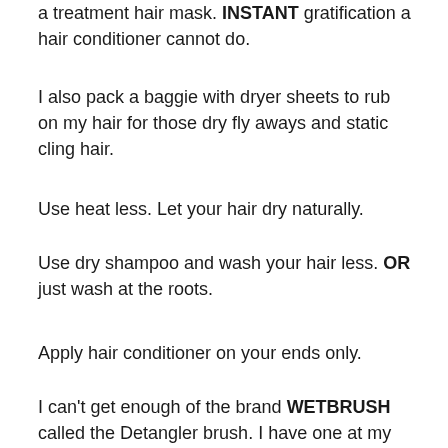a treatment hair mask. INSTANT gratification a hair conditioner cannot do.
I also pack a baggie with dryer sheets to rub on my hair for those dry fly aways and static cling hair.
Use heat less. Let your hair dry naturally.
Use dry shampoo and wash your hair less. OR just wash at the roots.
Apply hair conditioner on your ends only.
I can't get enough of the brand WETBRUSH called the Detangler brush. I have one at my house,in my luggage,at my desk in my office and in my car. I LOVE how it keeps my hair from tangling and helps keep it in the best condition it can be. I even have my husband and family